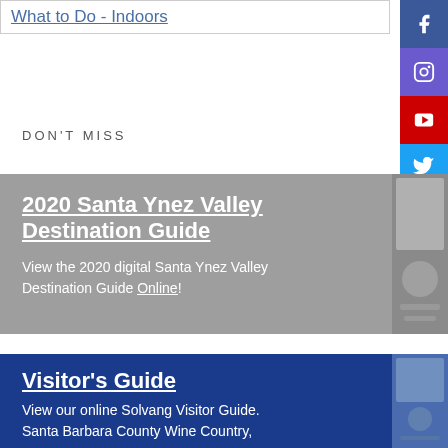What to Do - Indoors
DON'T MISS
2020 Santa Ynez Valley Destination Guide
View the 2020 digital Santa Ynez Valley Destination Guide Online!
Visitor's Guide
View our online Solvang Visitor Guide. Santa Barbara County Wine Country,